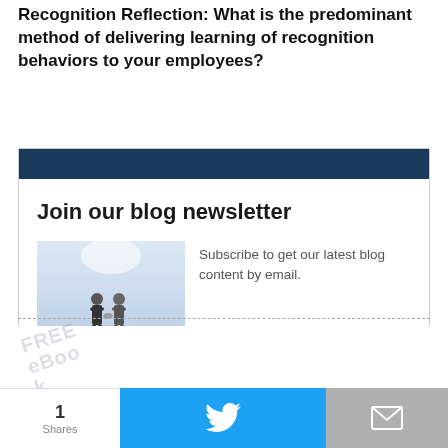Recognition Reflection: What is the predominant method of delivering learning of recognition behaviors to your employees?
[Figure (infographic): Newsletter signup box with dark blue header bar, bold title 'Join our blog newsletter', image of two people shaking hands, and text 'Subscribe to get our latest blog content by email.']
Subscribe to get our latest blog content by email.
First Name
1
Shares